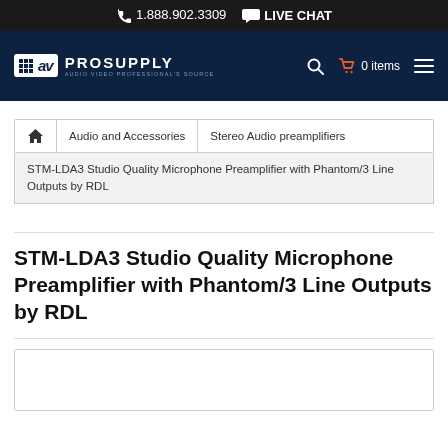1.888.902.3309  LIVE CHAT
[Figure (logo): AV ProSupply logo with navigation bar including search, cart (0 items), and hamburger menu on dark navy background]
Audio and Accessories  Stereo Audio preamplifiers
STM-LDA3 Studio Quality Microphone Preamplifier with Phantom/3 Line Outputs by RDL
STM-LDA3 Studio Quality Microphone Preamplifier with Phantom/3 Line Outputs by RDL
[Figure (photo): Product image placeholder area (empty white box with border)]